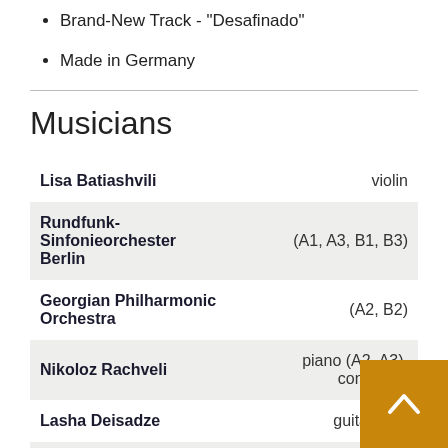Brand-New Track - "Desafinado"
Made in Germany
Musicians
| Name | Role |
| --- | --- |
| Lisa Batiashvili | violin |
| Rundfunk-Sinfonieorchester Berlin | (A1, A3, B1, B3) |
| Georgian Philharmonic Orchestra | (A2, B2) |
| Nikoloz Rachveli | piano (A2, A3), conductor |
| Lasha Deisadze | guitar (A2) |
| Levan Deisadze | bass |
| Georg Mel | percu |